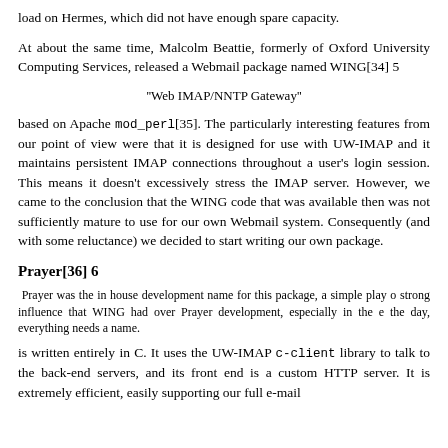load on Hermes, which did not have enough spare capacity.
At about the same time, Malcolm Beattie, formerly of Oxford University Computing Services, released a Webmail package named WING[34] 5
''Web IMAP/NNTP Gateway''
based on Apache mod_perl[35]. The particularly interesting features from our point of view were that it is designed for use with UW-IMAP and it maintains persistent IMAP connections throughout a user's login session. This means it doesn't excessively stress the IMAP server. However, we came to the conclusion that the WING code that was available then was not sufficiently mature to use for our own Webmail system. Consequently (and with some reluctance) we decided to start writing our own package.
Prayer[36] 6
Prayer was the in house development name for this package, a simple play o strong influence that WING had over Prayer development, especially in the e the day, everything needs a name.
is written entirely in C. It uses the UW-IMAP c-client library to talk to the back-end servers, and its front end is a custom HTTP server. It is extremely efficient, easily supporting our full e-mail